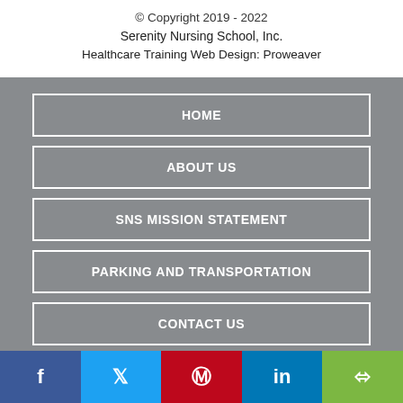© Copyright 2019 - 2022
Serenity Nursing School, Inc.
Healthcare Training Web Design: Proweaver
HOME
ABOUT US
SNS MISSION STATEMENT
PARKING AND TRANSPORTATION
CONTACT US
[Figure (infographic): Social media share buttons bar: Facebook (blue), Twitter (light blue), Pinterest (red), LinkedIn (dark blue), Share (green)]